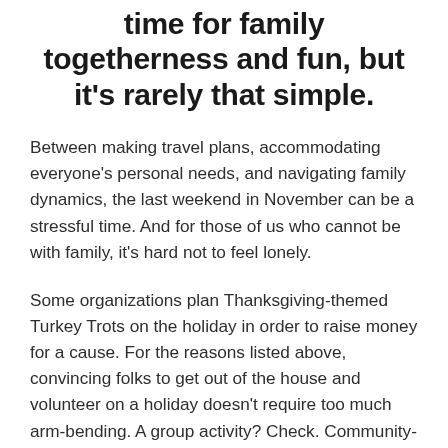time for family togetherness and fun, but it's rarely that simple.
Between making travel plans, accommodating everyone's personal needs, and navigating family dynamics, the last weekend in November can be a stressful time. And for those of us who cannot be with family, it's hard not to feel lonely.
Some organizations plan Thanksgiving-themed Turkey Trots on the holiday in order to raise money for a cause. For the reasons listed above, convincing folks to get out of the house and volunteer on a holiday doesn't require too much arm-bending. A group activity? Check. Community-oriented? Check. Exercise before gorging yourself for six hours? Check.